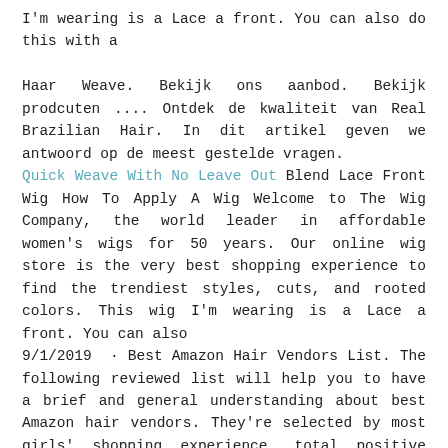I'm wearing is a Lace a front. You can also do this with a
Haar Weave. Bekijk ons aanbod. Bekijk prodcuten .... Ontdek de kwaliteit van Real Brazilian Hair. In dit artikel geven we antwoord op de meest gestelde vragen.
Quick Weave With No Leave Out Blend Lace Front Wig How To Apply A Wig Welcome to The Wig Company, the world leader in affordable women's wigs for 50 years. Our online wig store is the very best shopping experience to find the trendiest styles, cuts, and rooted colors. This wig I'm wearing is a Lace a front. You can also
9/1/2019 · Best Amazon Hair Vendors List. The following reviewed list will help you to have a brief and general understanding about best Amazon hair vendors. They're selected by most girls' shopping experience, total positive feedback, total sold number and product quantity.